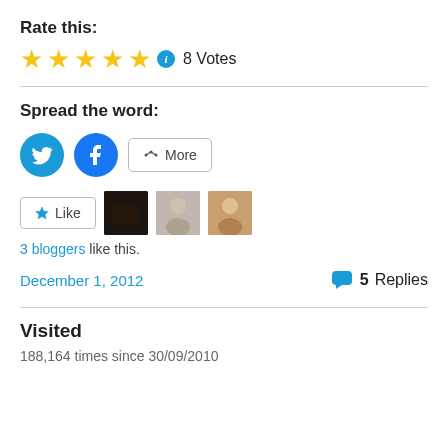Rate this:
[Figure (other): 5 gold stars rating with info icon and '8 Votes' label]
Spread the word:
[Figure (other): Twitter and Facebook share buttons plus a More button]
[Figure (other): Like button with 3 blogger avatar thumbnails]
3 bloggers like this.
December 1, 2012
5 Replies
Visited
188,164 times since 30/09/2010